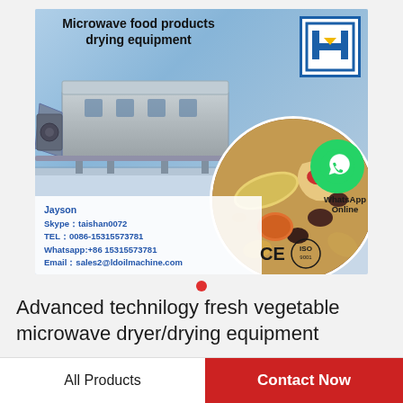[Figure (photo): Product advertisement image for microwave food products drying equipment. Shows industrial tunnel dryer machine on left, dried fruits/nuts on right in circular overlay. Contact info: Jayson, Skype: taishan0072, TEL: 0086-15315573781, Whatsapp: +86 15315573781, Email: sales2@ldoilmachine.com. WhatsApp Online bubble and CE/ISO logos visible.]
Advanced technilogy fresh vegetable microwave dryer/drying equipment
All Products
Contact Now